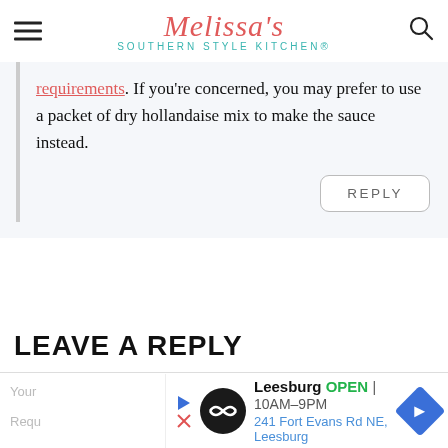Melissa's Southern Style Kitchen®
requirements. If you're concerned, you may prefer to use a packet of dry hollandaise mix to make the sauce instead.
LEAVE A REPLY
[Figure (infographic): Advertisement: Leesburg OPEN 10AM–9PM, 241 Fort Evans Rd NE, Leesburg]